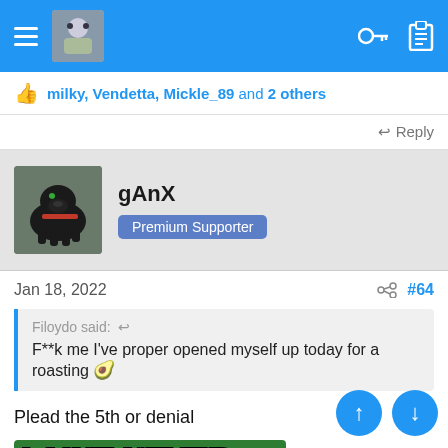Navigation bar with hamburger menu, avatar, key icon, clipboard icon
milky, Vendetta, Mickle_89 and 2 others
Reply
gAnX
Premium Supporter
Jan 18, 2022  #64
Filoydo said: F**k me I've proper opened myself up today for a roasting 🥑
Plead the 5th or denial
[Figure (photo): Meme image with text 'I AINT NEVER NOT' on green background with person below]